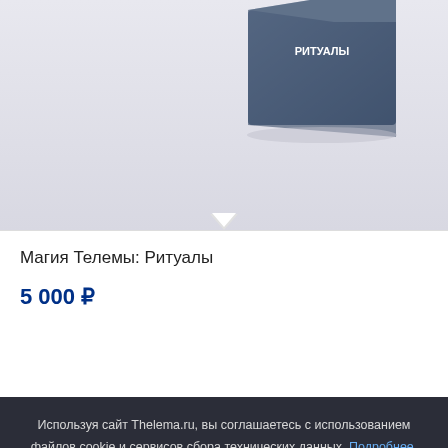[Figure (photo): Product box image for 'Магия Телемы: Ритуалы' — a blue/grey box with Russian text Ритуалы on it, partially visible at top of page]
Магия Телемы: Ритуалы
5 000 ₽
В корзину
Используя сайт Thelema.ru, вы соглашаетесь с использованием файлов cookie и сервисов сбора технических данных. Подробнее.
Принять
[Figure (photo): Bottom product box image showing dark box with Russian text 'Кодекс «Телема-93»']